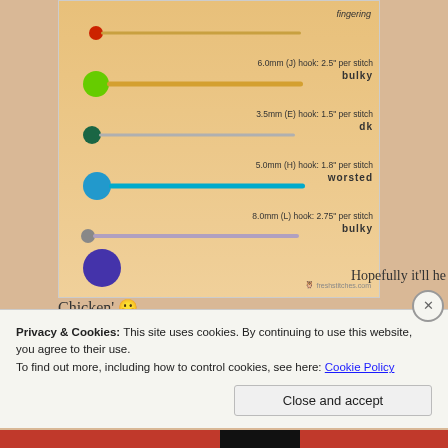[Figure (infographic): Crochet hook size guide from freshstitches.com showing different hook sizes with yarn balls and hooks. Rows include: 6.0mm (J) hook: 2.5" per stitch - bulky; 3.5mm (E) hook: 1.5" per stitch - dk; 5.0mm (H) hook: 1.8" per stitch - worsted; 8.0mm (L) hook: 2.75" per stitch - bulky. Yarn balls in red, green, dark teal, blue, and purple colors with corresponding hooks.]
Hopefully it'll he
Chicken' 😀
Oh…one more thing – please join me in a 'Dance of J…'
Privacy & Cookies: This site uses cookies. By continuing to use this website, you agree to their use.
To find out more, including how to control cookies, see here: Cookie Policy
Close and accept